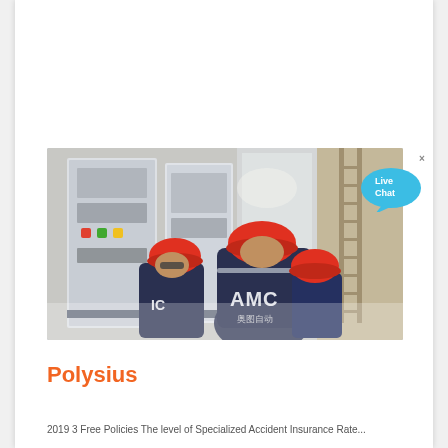Get Quote
[Figure (photo): Three workers in red hard hats and dark uniforms with 'AMC' written on the back, standing in front of industrial electrical control panels in a factory setting.]
Live Chat
Polysius
2019 3 Free Policies The level of Specialized Accident Insurance Rate...